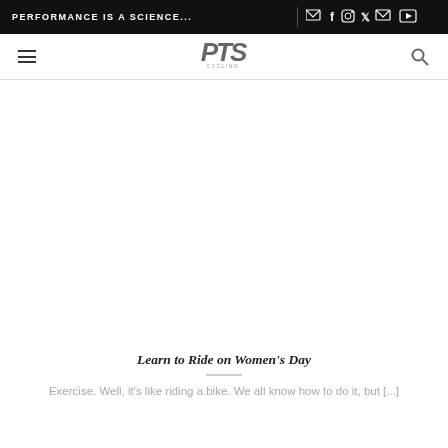PERFORMANCE IS A SCIENCE...
[Figure (logo): PTS logo with italic stylized text and small underline text]
[Figure (other): Date box showing 26 Jul in blue border]
[Figure (photo): Large image area (mostly white/blank)]
Learn to Ride on Women's Day
Exercise. Well, it's like riding a bike. We all know how to do it, but [...]